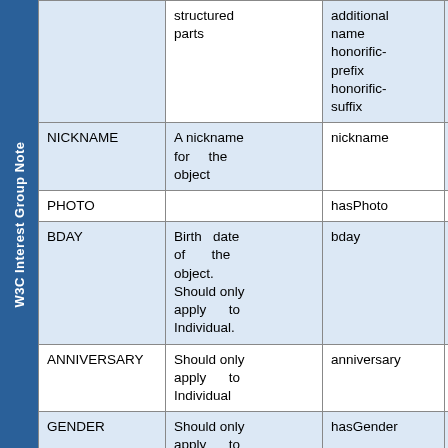| Property | Description | Mapped to |  |
| --- | --- | --- | --- |
|  | structured parts | additional name honorific-prefix honorific-suffix | ha |
| NICKNAME | A nickname for the object | nickname | ha |
| PHOTO |  | hasPhoto |  |
| BDAY | Birth date of the object. Should only apply to Individual. | bday |  |
| ANNIVERSARY | Should only apply to Individual | anniversary |  |
| GENDER | Should only apply to Individual. See Gender | hasGender |  |